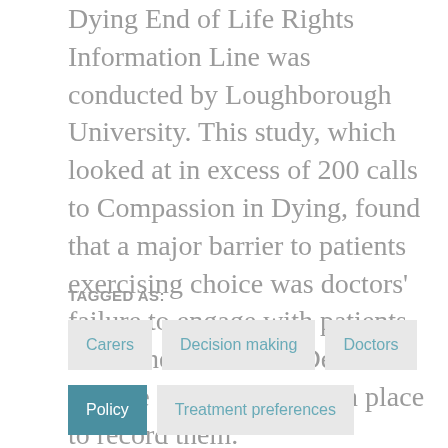Dying End of Life Rights Information Line was conducted by Loughborough University. This study, which looked at in excess of 200 calls to Compassion in Dying, found that a major barrier to patients exercising choice was doctors' failure to engage with patients about their Advance Decision and the lack of systems in place to record them.
TAGGED AS:
Carers
Decision making
Doctors
Policy
Treatment preferences